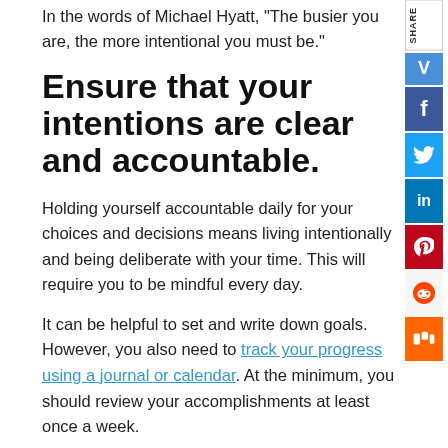In the words of Michael Hyatt, “The busier you are, the more intentional you must be.”
Ensure that your intentions are clear and accountable.
Holding yourself accountable daily for your choices and decisions means living intentionally and being deliberate with your time. This will require you to be mindful every day.
It can be helpful to set and write down goals. However, you also need to track your progress using a journal or calendar. At the minimum, you should review your accomplishments at least once a week.
Keep in mind that everything you do should be aligned with your values. Or, at the very least — learn to be able